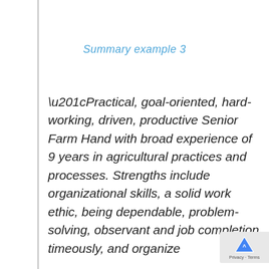Summary example 3
“Practical, goal-oriented, hard-working, driven, productive Senior Farm Hand with broad experience of 9 years in agricultural practices and processes. Strengths include organizational skills, a solid work ethic, being dependable, problem-solving, observant and job completion timeously, and organize looking for a job but XYZ F...